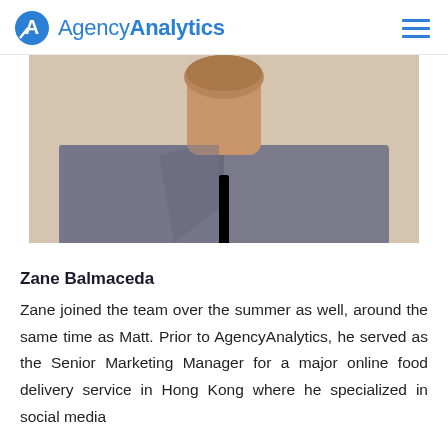AgencyAnalytics
[Figure (photo): Cropped photo of a man from the neck down wearing a grey button-up collared shirt, beard visible at chin]
Zane Balmaceda
Zane joined the team over the summer as well, around the same time as Matt. Prior to AgencyAnalytics, he served as the Senior Marketing Manager for a major online food delivery service in Hong Kong where he specialized in social media